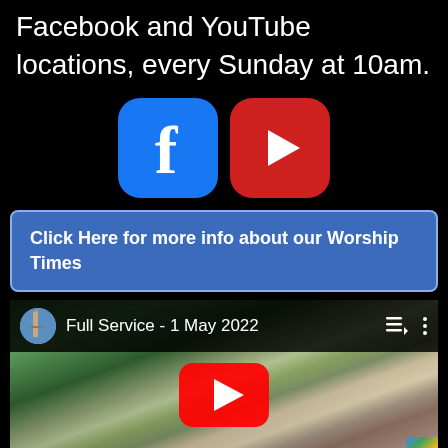Facebook and YouTube locations, every Sunday at 10am.
[Figure (logo): Facebook logo icon (blue rounded square with white 'f') and YouTube logo icon (red rounded square with white play triangle)]
Click Here for more info about our Worship Times
[Figure (screenshot): YouTube video embed showing 'Full Service - 1 May 2022' with a church building image and YouTube play button overlay]